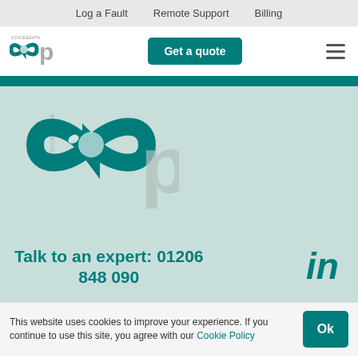Log a Fault   Remote Support   Billing
[Figure (logo): Loop Voice & Data logo - small version in header]
Get a quote
[Figure (logo): Loop Voice & Data large logo with infinity symbol on teal/mint background]
Talk to an expert: 01206 848 090
[Figure (logo): LinkedIn icon]
This website uses cookies to improve your experience. If you continue to use this site, you agree with our Cookie Policy
Ok